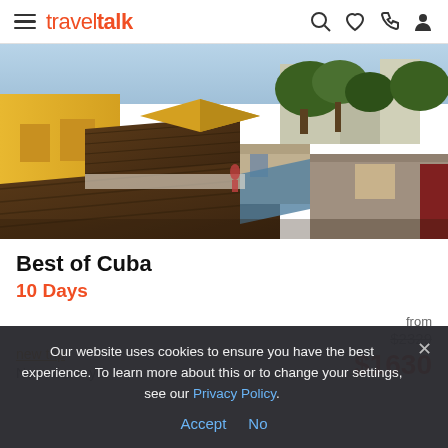traveltalk
[Figure (photo): Aerial view of colorful rooftops in Cuba, showing yellow, brown, and terracotta tiled rooftops with trees in the background]
Best of Cuba
10 Days
new trip
No reviews yet
from $2329 $1630
Our website uses cookies to ensure you have the best experience. To learn more about this or to change your settings, see our Privacy Policy.
Accept No